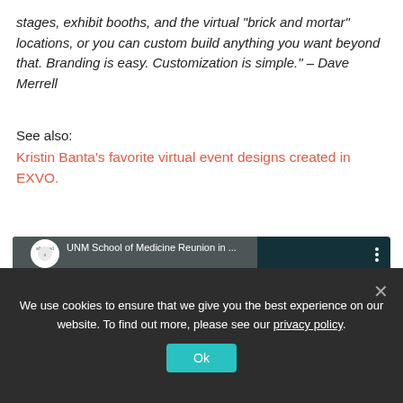stages, exhibit booths, and the virtual "brick and mortar" locations, or you can custom build anything you want beyond that. Branding is easy. Customization is simple." – Dave Merrell
See also:
Kristin Banta's favorite virtual event designs created in EXVO.
[Figure (screenshot): YouTube video thumbnail for 'UNM School of Medicine Reunion in...' showing a virtual event space with a bar sign, red flags, outdoor landscape, and a YouTube play button overlay. The right side panel shows 'UNM School of Medicine Reunion' text on a teal background.]
We use cookies to ensure that we give you the best experience on our website. To find out more, please see our privacy policy.